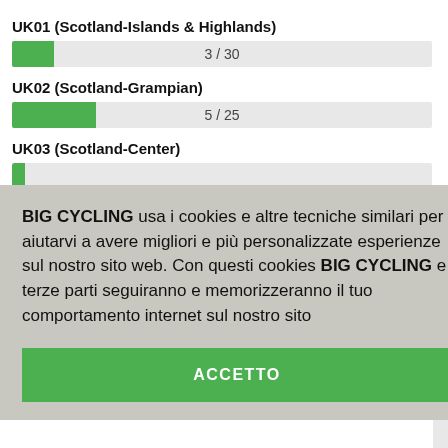UK01 (Scotland-Islands & Highlands)
[Figure (bar-chart): UK01]
UK02 (Scotland-Grampian)
[Figure (bar-chart): UK02]
UK03 (Scotland-Center)
BIG CYCLING usa i cookies e altre tecniche similari per aiutarvi a avere migliori e più personalizzate esperienze sul nostro sito web. Con questi cookies BIG CYCLING e terze parti seguiranno e memorizzeranno il tuo comportamento internet sul nostro sito
ACCETTO